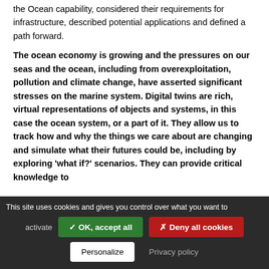the Ocean capability, considered their requirements for infrastructure, described potential applications and defined a path forward.
The ocean economy is growing and the pressures on our seas and the ocean, including from overexploitation, pollution and climate change, have asserted significant stresses on the marine system. Digital twins are rich, virtual representations of objects and systems, in this case the ocean system, or a part of it. They allow us to track how and why the things we care about are changing and simulate what their futures could be, including by exploring 'what if?' scenarios. They can provide critical knowledge to
This site uses cookies and gives you control over what you want to activate ✓ OK, accept all ✗ Deny all cookies Personalize Privacy policy